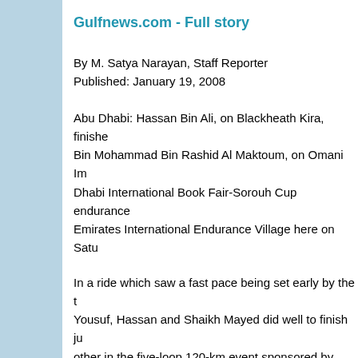Gulfnews.com - Full story
By M. Satya Narayan, Staff Reporter
Published: January 19, 2008
Abu Dhabi: Hassan Bin Ali, on Blackheath Kira, finished ahead of Shaikh Mayed Bin Mohammad Bin Rashid Al Maktoum, on Omani Imperial, to win the Abu Dhabi International Book Fair-Sorouh Cup endurance ride held at the Emirates International Endurance Village here on Saturday.
In a ride which saw a fast pace being set early by the trio of Hassan, Yousuf, Hassan and Shaikh Mayed did well to finish just ahead of each other in the five-loop 120-km event sponsored by Sorouh and the Abu Dhabi International Book Fair.
Both Hassan and Shaikh Mayed were on the same horses in the previous ride, held at this very venue. Shaikh Mayed was third and Hassan was first in that ride held on December 15. While Omair Hussain had to withdraw his horse after the first stage, Yousuf Ahmad Al Belous had to withdraw at check in the second stage.